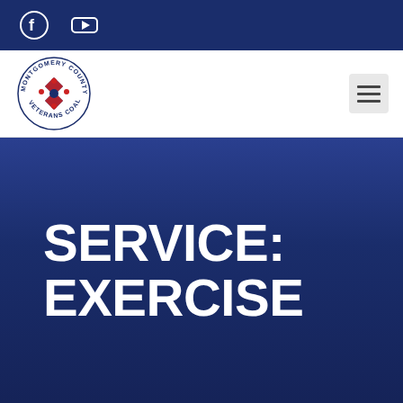[Figure (logo): Facebook and YouTube social icons on dark navy top bar]
[Figure (logo): Montgomery County Veterans Coalition circular logo with star/people design in red, white, and blue]
[Figure (other): Hamburger menu icon (three horizontal lines) on light gray background]
SERVICE: EXERCISE